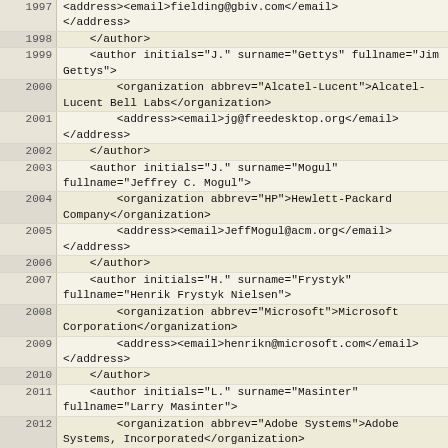| line | code |
| --- | --- |
| 1997 | <address><email>fielding@gbiv.com</email> |
| 1998 |     </author> |
| 1999 |     <author initials="J." surname="Gettys" fullname="Jim Gettys"> |
| 2000 |         <organization abbrev="Alcatel-Lucent">Alcatel-Lucent Bell Labs</organization> |
| 2001 |         <address><email>jg@freedesktop.org</email></address> |
| 2002 |     </author> |
| 2003 |     <author initials="J." surname="Mogul" fullname="Jeffrey C. Mogul"> |
| 2004 |         <organization abbrev="HP">Hewlett-Packard Company</organization> |
| 2005 |         <address><email>JeffMogul@acm.org</email></address> |
| 2006 |     </author> |
| 2007 |     <author initials="H." surname="Frystyk" fullname="Henrik Frystyk Nielsen"> |
| 2008 |         <organization abbrev="Microsoft">Microsoft Corporation</organization> |
| 2009 |         <address><email>henrikn@microsoft.com</email></address> |
| 2010 |     </author> |
| 2011 |     <author initials="L." surname="Masinter" fullname="Larry Masinter"> |
| 2012 |         <organization abbrev="Adobe Systems">Adobe Systems, Incorporated</organization> |
| 2013 |         <address><email>LMM@acm.org</email></address> |
| 2014 |     </author> |
| 2015 |     <author initials="P." surname="Leach" fullname="Paul J. Leach"> |
| 2016 |         <organization abbrev="Microsoft">Microsoft Corporation</organization> |
| 2017 |         <address><email>...</email></address> |